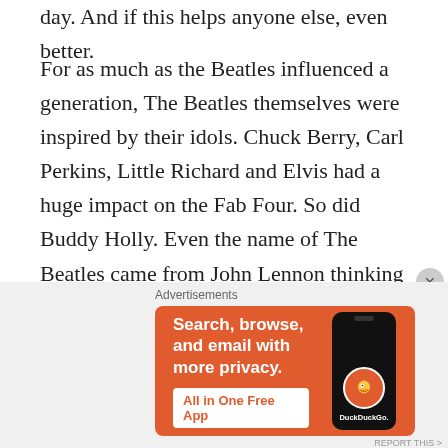day.  And if this helps anyone else, even better.
For as much as the Beatles influenced a generation, The Beatles themselves were inspired by their idols.  Chuck Berry, Carl Perkins, Little Richard and Elvis had a huge impact on the Fab Four.  So did Buddy Holly.  Even the name of The Beatles came from John Lennon thinking naming a band after an insect was the way to go following Holly's lead in calling his band The Crickets.
Holly is long remembered for his all too brief but
Advertisements
[Figure (other): DuckDuckGo advertisement banner: Search, browse, and email with more privacy. All in One Free App. Shows a smartphone with DuckDuckGo logo.]